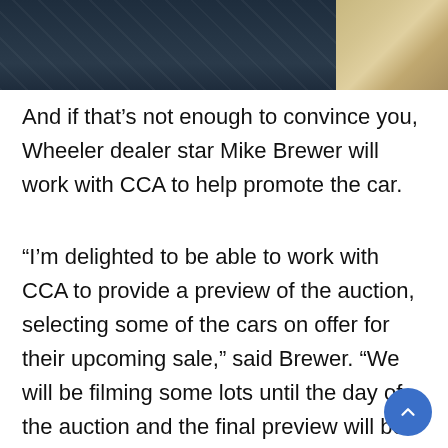[Figure (photo): Close-up photo of dark blue quilted car interior seat with diamond pattern stitching, and a lighter beige/tan area visible at the right edge suggesting a window or exterior view.]
And if that’s not enough to convince you, Wheeler dealer star Mike Brewer will work with CCA to help promote the car.
“I’m delighted to be able to work with CCA to provide a preview of the auction, selecting some of the cars on offer for their upcoming sale,” said Brewer. “We will be filming some lots until the day of the auction and the final preview will be published on Mike Brewer Motoring and our social media channels.”